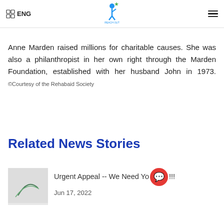ENG
Anne Marden raised millions for charitable causes. She was also a philanthropist in her own right through the Marden Foundation, established with her husband John in 1973. ©Courtesy of the Rehabaid Society
Related News Stories
Urgent Appeal -- We Need Yo...!!!
Jun 17, 2022